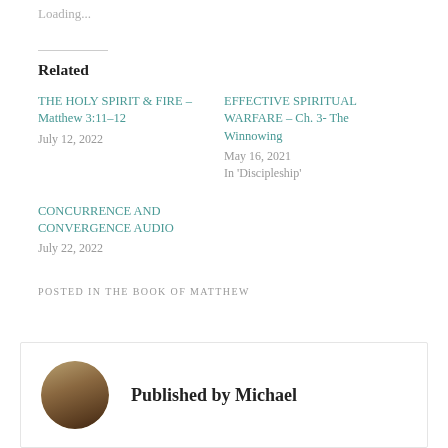Loading...
Related
THE HOLY SPIRIT & FIRE – Matthew 3:11–12
July 12, 2022
EFFECTIVE SPIRITUAL WARFARE – Ch. 3- The Winnowing
May 16, 2021
In 'Discipleship'
CONCURRENCE AND CONVERGENCE AUDIO
July 22, 2022
POSTED IN THE BOOK OF MATTHEW
Published by Michael